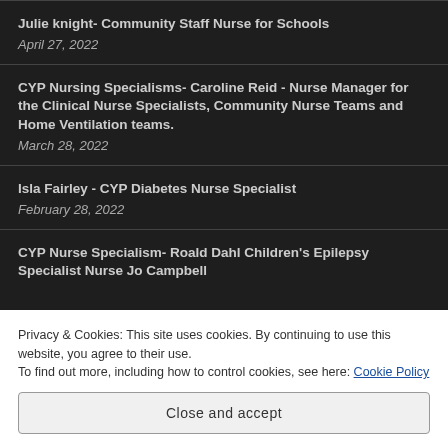Julie knight- Community Staff Nurse for Schools
April 27, 2022
CYP Nursing Specialisms- Caroline Reid - Nurse Manager for the Clinical Nurse Specialists, Community Nurse Teams and Home Ventilation teams.
March 28, 2022
Isla Fairley - CYP Diabetes Nurse Specialist
February 28, 2022
CYP Nurse Specialism- Roald Dahl Children's Epilepsy Specialist Nurse Jo Campbell
Privacy & Cookies: This site uses cookies. By continuing to use this website, you agree to their use.
To find out more, including how to control cookies, see here: Cookie Policy
Close and accept